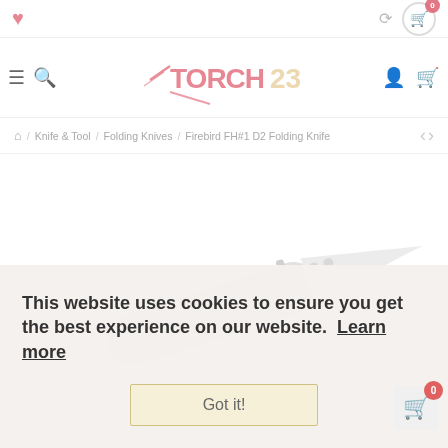[Figure (screenshot): E-commerce website screenshot showing Torch23 store with navigation, breadcrumb (Knife & Tool > Folding Knives > Firebird FH#1 D2 Folding Knife), a folding knife product image, and a cookie consent banner overlay reading 'This website uses cookies to ensure you get the best experience on our website. Learn more' with a 'Got it!' button.]
This website uses cookies to ensure you get the best experience on our website.  Learn more
Got it!